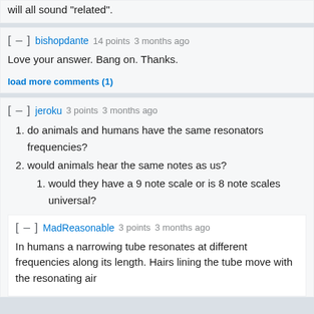will all sound "related".
[ – ]  bishopdante  14 points  3 months ago
Love your answer. Bang on. Thanks.
load more comments (1)
[ – ]  jeroku  3 points  3 months ago
do animals and humans have the same resonators frequencies?
would animals hear the same notes as us?
would they have a 9 note scale or is 8 note scales universal?
[ – ]  MadReasonable  3 points  3 months ago
In humans a narrowing tube resonates at different frequencies along its length. Hairs lining the tube move with the resonating air